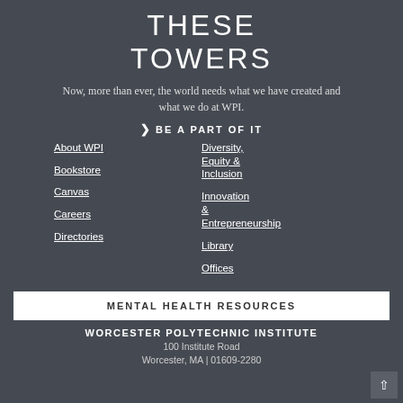THESE TOWERS
Now, more than ever, the world needs what we have created and what we do at WPI.
❯ BE A PART OF IT
About WPI
Bookstore
Canvas
Careers
Directories
Diversity, Equity & Inclusion
Innovation & Entrepreneurship
Library
Offices
MENTAL HEALTH RESOURCES
WORCESTER POLYTECHNIC INSTITUTE
100 Institute Road
Worcester, MA | 01609-2280